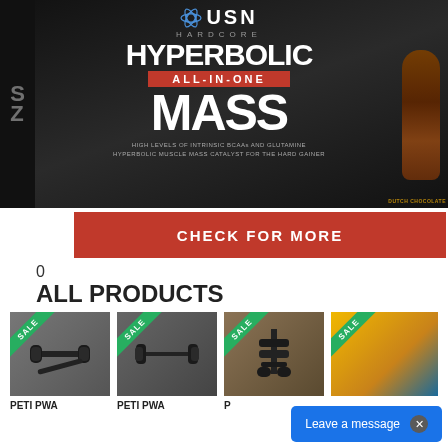[Figure (photo): USN Hardcore Hyperbolic All-In-One Mass protein supplement bag in Dutch Chocolate flavor on dark background]
CHECK FOR MORE
0
ALL PRODUCTS
[Figure (photo): Dumbbell weights product with SALE badge - PETI PWA]
[Figure (photo): Barbell/weights product with SALE badge - PETI PWA]
[Figure (photo): Weight stand/barbell set on wooden surface with SALE badge - P]
[Figure (photo): Yellow/orange garment or clothing with SALE badge]
PETI PWA
PETI PWA
P
Leave a message